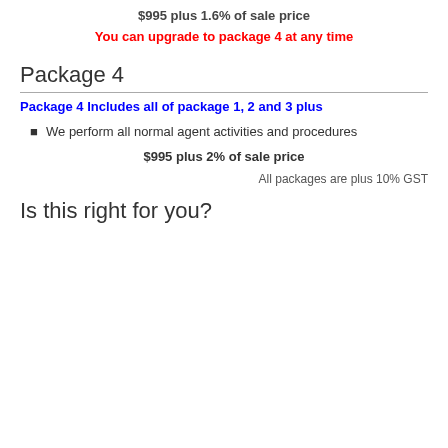$995 plus 1.6% of sale price
You can upgrade to package 4 at any time
Package 4
Package 4 Includes all of package 1, 2 and 3 plus
We perform all normal agent activities and procedures
$995 plus 2% of sale price
All packages are plus 10% GST
Is this right for you?